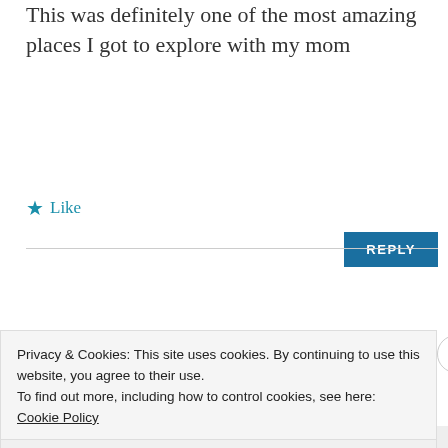This was definitely one of the most amazing places I got to explore with my mom
★ Like
REPLY
Please share your thoughts in a comment
Privacy & Cookies: This site uses cookies. By continuing to use this website, you agree to their use.
To find out more, including how to control cookies, see here: Cookie Policy
Close and accept